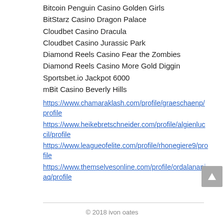Bitcoin Penguin Casino Golden Girls
BitStarz Casino Dragon Palace
Cloudbet Casino Dracula
Cloudbet Casino Jurassic Park
Diamond Reels Casino Fear the Zombies
Diamond Reels Casino More Gold Diggin
Sportsbet.io Jackpot 6000
mBit Casino Beverly Hills
https://www.chamaraklash.com/profile/graeschaenp/profile
https://www.heikebretschneider.com/profile/algienluccil/profile
https://www.leagueofelite.com/profile/rhonegiere9/profile
https://www.themselvesonline.com/profile/ordalananiaq/profile
© 2018 ivon oates